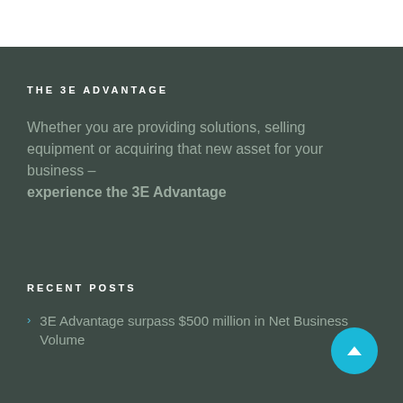THE 3E ADVANTAGE
Whether you are providing solutions, selling equipment or acquiring that new asset for your business – experience the 3E Advantage
RECENT POSTS
3E Advantage surpass $500 million in Net Business Volume